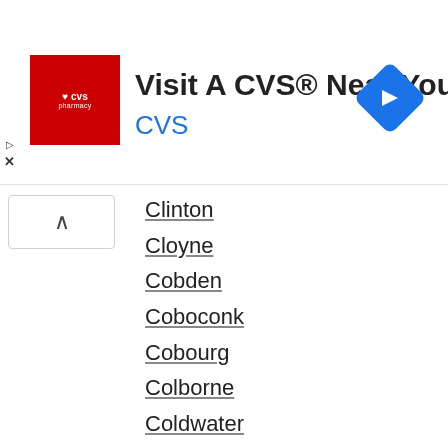[Figure (advertisement): CVS Pharmacy ad banner: red CVS pharmacy logo on left, bold text 'Visit A CVS® Near You' with blue 'CVS' subtitle, blue navigation diamond icon on right]
Clinton (partially visible, cut off at top)
Cloyne
Cobden
Coboconk
Cobourg
Colborne
Coldwater
Collingwood
Consecon
Constance Bay
Cornwall
Cottom Kingsville
Cramahe